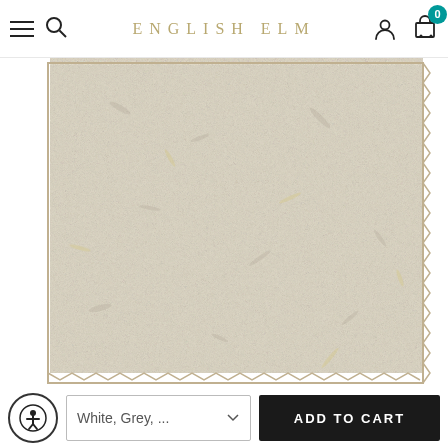ENGLISH ELM
[Figure (photo): Close-up photo of a shaggy area rug with a mixed white, grey, and beige/gold texture. The rug has a dense, fluffy pile with a slightly zigzag-cut edge visible on right and bottom sides.]
White, Grey, ...
ADD TO CART